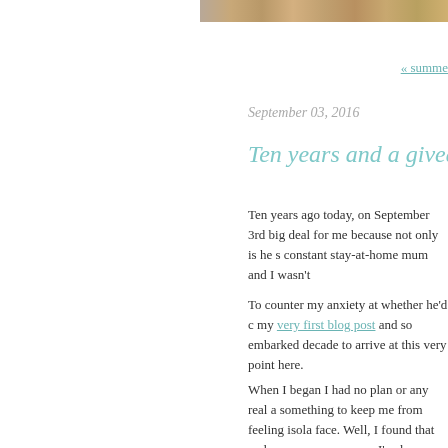[Figure (photo): Top cropped photo showing wooden or woven textured items in brown/tan tones]
« summe
September 03, 2016
Ten years and a givea
Ten years ago today, on September 3rd big deal for me because not only is he s constant stay-at-home mum and I wasn't
To counter my anxiety at whether he'd c my very first blog post and so embarked decade to arrive at this very point here.
When I began I had no plan or any real a something to keep me from feeling isola face. Well, I found that and so very muc person. I've been on the receiving end o makes and over the years have been luc